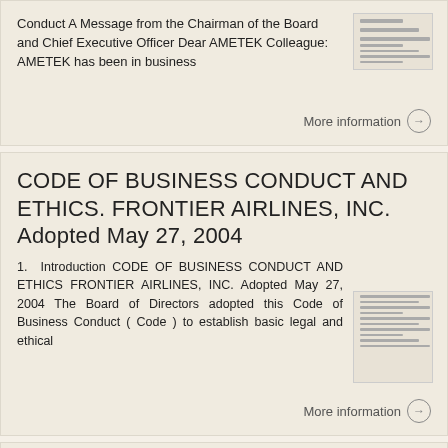Conduct A Message from the Chairman of the Board and Chief Executive Officer Dear AMETEK Colleague: AMETEK has been in business
More information →
CODE OF BUSINESS CONDUCT AND ETHICS. FRONTIER AIRLINES, INC. Adopted May 27, 2004
1. Introduction CODE OF BUSINESS CONDUCT AND ETHICS FRONTIER AIRLINES, INC. Adopted May 27, 2004 The Board of Directors adopted this Code of Business Conduct ( Code ) to establish basic legal and ethical
More information →
Acceleron Pharma Inc. Code of Business Conduct and Ethics